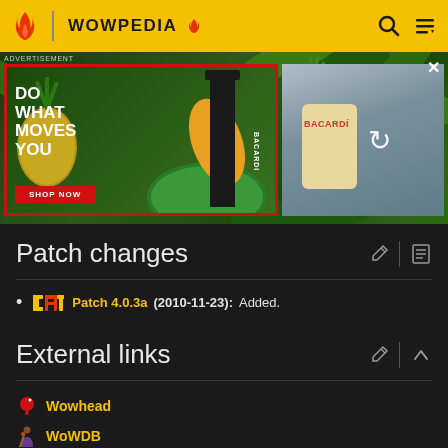WOWPEDIA
[Figure (screenshot): Bacardi advertisement banner with tropical fruits background, 'DO WHAT MOVES YOU' text and 'SHOP NOW' button on the left, and a loading Bacardi advertisement on the right]
Patch changes
Patch 4.0.3a (2010-11-23): Added.
External links
Wowhead
WoWDB